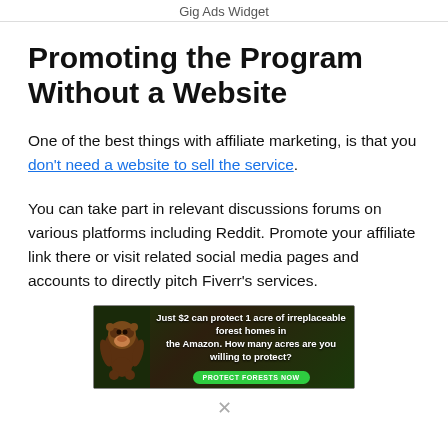Gig Ads Widget
Promoting the Program Without a Website
One of the best things with affiliate marketing, is that you don't need a website to sell the service.
You can take part in relevant discussions forums on various platforms including Reddit. Promote your affiliate link there or visit related social media pages and accounts to directly pitch Fiverr's services.
[Figure (other): Advertisement banner for Amazon forest protection: 'Just $2 can protect 1 acre of irreplaceable forest homes in the Amazon. How many acres are you willing to protect?' with a green 'PROTECT FORESTS NOW' button and an orangutan image.]